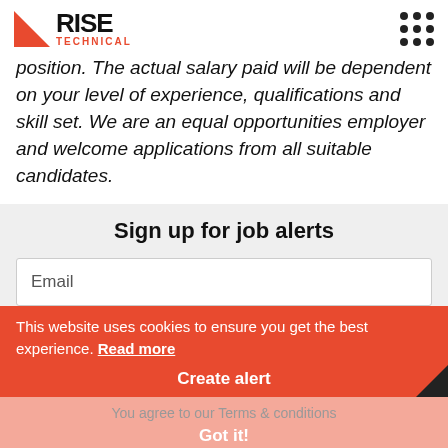RISE TECHNICAL
position. The actual salary paid will be dependent on your level of experience, qualifications and skill set. We are an equal opportunities employer and welcome applications from all suitable candidates.
Sign up for job alerts
Email
Create alert
This website uses cookies to ensure you get the best experience. Read more
You agree to our Terms & conditions
Got it!